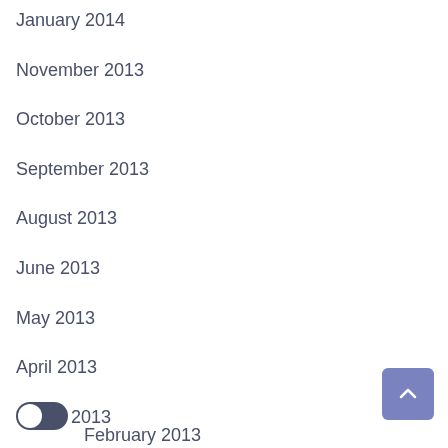January 2014
November 2013
October 2013
September 2013
August 2013
June 2013
May 2013
April 2013
March 2013
February 2013